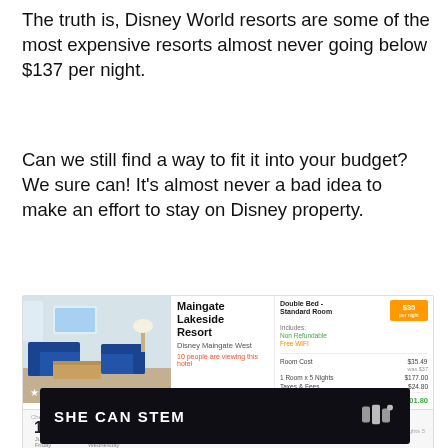The truth is, Disney World resorts are some of the most expensive resorts almost never going below $137 per night.
Can we still find a way to fit it into your budget?  We sure can! It's almost never a bad idea to make an effort to stay on Disney property.
[Figure (screenshot): Hotel booking card for Maingate Lakeside Resort, Disney Maingate West. Shows a room photo, 3-star rating, '10 people are viewing this hotel' in red. Check-in June 12 Friday, Checkout June 17 Wednesday, 5 Nights. Price: Double Bed Standard Room $35/night (orange badge), Non Refundable, Free WiFi. Room Cost $35.49/was $37, 1 Room x 5 Nights $177.00, Taxes & Fees $24.80, Total Charges $201.80 (green). Reservation Name (Age 21 or older).]
[Figure (screenshot): Dark background banner reading 'SHE CAN STEM' in bold white text with a logo on the right.]